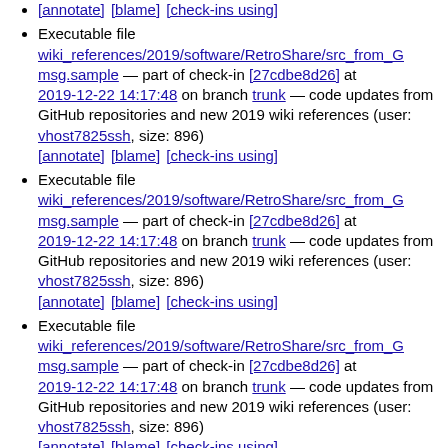[annotate] [blame] [check-ins using]
Executable file wiki_references/2019/software/RetroShare/src_from_G msg.sample — part of check-in [27cdbe8d26] at 2019-12-22 14:17:48 on branch trunk — code updates from GitHub repositories and new 2019 wiki references (user: vhost7825ssh, size: 896) [annotate] [blame] [check-ins using]
Executable file wiki_references/2019/software/RetroShare/src_from_G msg.sample — part of check-in [27cdbe8d26] at 2019-12-22 14:17:48 on branch trunk — code updates from GitHub repositories and new 2019 wiki references (user: vhost7825ssh, size: 896) [annotate] [blame] [check-ins using]
Executable file wiki_references/2019/software/RetroShare/src_from_G msg.sample — part of check-in [27cdbe8d26] at 2019-12-22 14:17:48 on branch trunk — code updates from GitHub repositories and new 2019 wiki references (user: vhost7825ssh, size: 896) [annotate] [blame] [check-ins using]
Executable file wiki_references/2019/software/RetroShare/src_from_G msg.sample — part of check-in [27cdbe8d26] at